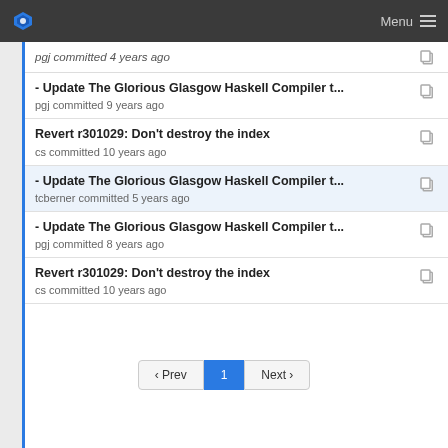Menu
pgj committed 4 years ago
- Update The Glorious Glasgow Haskell Compiler t...
pgj committed 9 years ago
Revert r301029: Don't destroy the index
cs committed 10 years ago
- Update The Glorious Glasgow Haskell Compiler t...
tcberner committed 5 years ago
- Update The Glorious Glasgow Haskell Compiler t...
pgj committed 8 years ago
Revert r301029: Don't destroy the index
cs committed 10 years ago
‹ Prev  1  Next ›